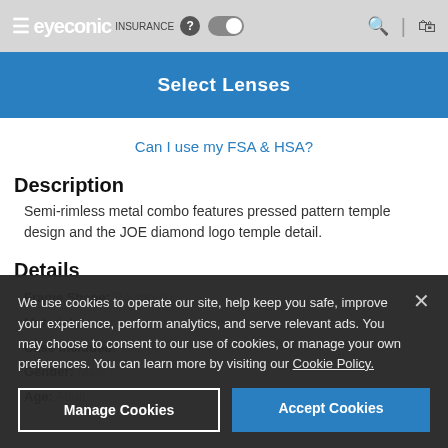eyeconic — Insurance toggle — Search — Cart
Select Lenses
Can I use my FSA & HSA?
Description
Semi-rimless metal combo features pressed pattern temple design and the JOE diamond logo temple detail.
Details
Frame Shape: Rectangle
Material: Metal
Case Included: Yes
Gender: Male
Age: Adult
We use cookies to operate our site, help keep you safe, improve your experience, perform analytics, and serve relevant ads. You may choose to consent to our use of cookies, or manage your own preferences. You can learn more by visiting our Cookie Policy.
Manage Cookies
Accept Cookies